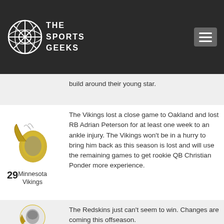[Figure (logo): The Sports Geeks logo with crossed lines circle icon and text]
build around their young star.
The Vikings lost a close game to Oakland and lost RB Adrian Peterson for at least one week to an ankle injury. The Vikings won't be in a hurry to bring him back as this season is lost and will use the remaining games to get rookie QB Christian Ponder more experience.
29
Minnesota Vikings
The Redskins just can't seem to win. Changes are coming this offseason.
30
Washington Redskins
St. Louis lost again, dropping them to 2-8 on the season. They still face the 49ers...